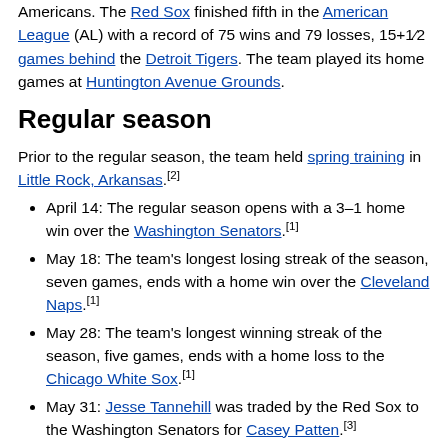Americans. The Red Sox finished fifth in the American League (AL) with a record of 75 wins and 79 losses, 15+1⁄2 games behind the Detroit Tigers. The team played its home games at Huntington Avenue Grounds.
Regular season
Prior to the regular season, the team held spring training in Little Rock, Arkansas.[2]
April 14: The regular season opens with a 3–1 home win over the Washington Senators.[1]
May 18: The team's longest losing streak of the season, seven games, ends with a home win over the Cleveland Naps.[1]
May 28: The team's longest winning streak of the season, five games, ends with a home loss to the Chicago White Sox.[1]
May 31: Jesse Tannehill was traded by the Red Sox to the Washington Senators for Casey Patten.[3]
June 30: Cy Young throws a no-hitter against the New York Highlanders at Hilltop Park in New York City; at the plate, Young has three hits and four RBIs.[4]